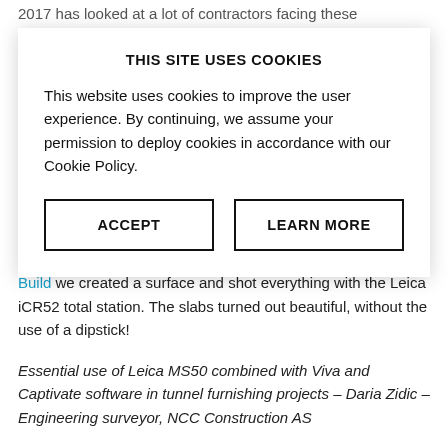2017 has looked at a lot of contractors facing these challenges.
THIS SITE USES COOKIES
This website uses cookies to improve the user experience. By continuing, we assume your permission to deploy cookies in accordance with our Cookie Policy.
ACCEPT
LEARN MORE
place the concrete on the proper slope terrain. Using iCON Build we created a surface and shot everything with the Leica iCR52 total station. The slabs turned out beautiful, without the use of a dipstick!
Essential use of Leica MS50 combined with Viva and Captivate software in tunnel furnishing projects – Daria Zidic – Engineering surveyor, NCC Construction AS
In order to perform the on-field surface inspection of a ceiling area in a road tunnel that is to be shotcreted, to ensure that it is satisfyingly positioned in relation to the tunnel alignment, a solution from Leica Geosystems was used – Leica Geosystems MultiStation combined with BIM service. Captivate Main…